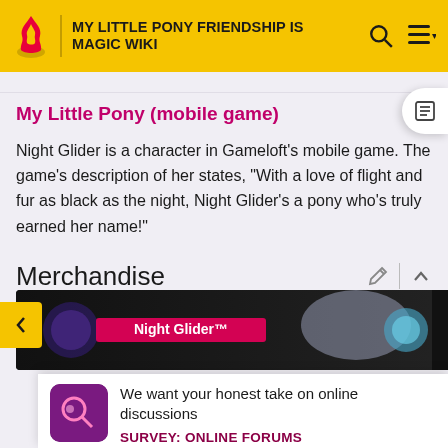MY LITTLE PONY FRIENDSHIP IS MAGIC WIKI
My Little Pony (mobile game)
Night Glider is a character in Gameloft's mobile game. The game's description of her states, "With a love of flight and fur as black as the night, Night Glider's a pony who's truly earned her name!"
Merchandise
[Figure (screenshot): Night Glider merchandise image showing product packaging with 'Night Glider' text]
We want your honest take on online discussions
SURVEY: ONLINE FORUMS